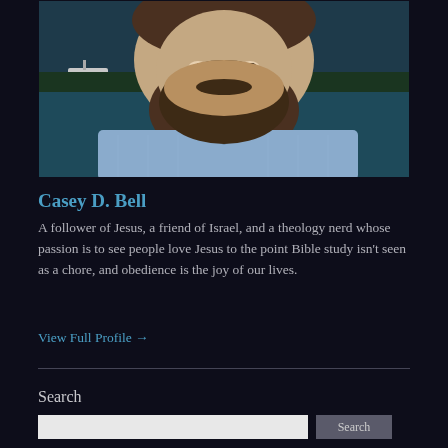[Figure (photo): Headshot photo of Casey D. Bell, a bearded man wearing a light blue collared shirt, photographed outdoors near water.]
Casey D. Bell
A follower of Jesus, a friend of Israel, and a theology nerd whose passion is to see people love Jesus to the point Bible study isn't seen as a chore, and obedience is the joy of our lives.
View Full Profile →
Search